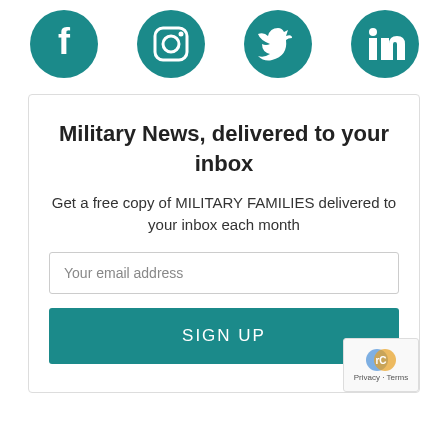[Figure (illustration): Four teal circular social media icons: Facebook, Instagram, Twitter, LinkedIn]
Military News, delivered to your inbox
Get a free copy of MILITARY FAMILIES delivered to your inbox each month
Your email address
SIGN UP